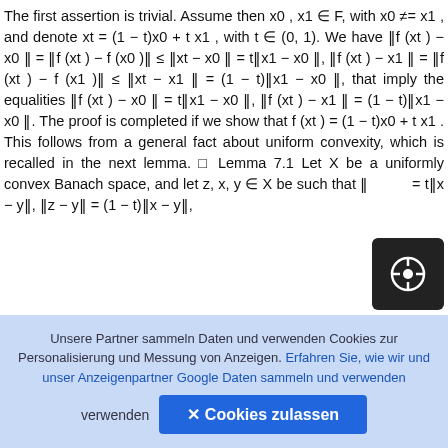The first assertion is trivial. Assume then x0, x1 ∈ F, with x0 ≠ x1, and denote xt = (1 − t)x0 + t x1, with t ∈ (0, 1). We have ‖f (xt) − x0‖ = ‖f (xt) − f (x0)‖ ≤ ‖xt − x0‖ = t‖x1 − x0‖, ‖f (xt) − x1‖ = ‖f (xt) − f (x1)‖ ≤ ‖xt − x1‖ = (1 − t)‖x1 − x0‖, that imply the equalities ‖f (xt) − x0‖ = t‖x1 − x0‖, ‖f (xt) − x1‖ = (1 − t)‖x1 − x0‖. The proof is completed if we show that f (xt) = (1 − t)x0 + t x1. This follows from a general fact about uniform convexity, which is recalled in the next lemma. □ Lemma 7.1 Let X be a uniformly convex Banach space, and let z, x, y ∈ X be such that ‖z − x‖ = t‖x − y‖, ‖z − y‖ = (1 − t)‖x − y‖,
7 Fixed Points of Non-expansive Maps
Unsere Partner sammeln Daten und verwenden Cookies zur Personalisierung und Messung von Anzeigen. Erfahren Sie, wie wir und unser Anzeigenpartner Google Daten sammeln und verwenden
✕ Cookies zulassen